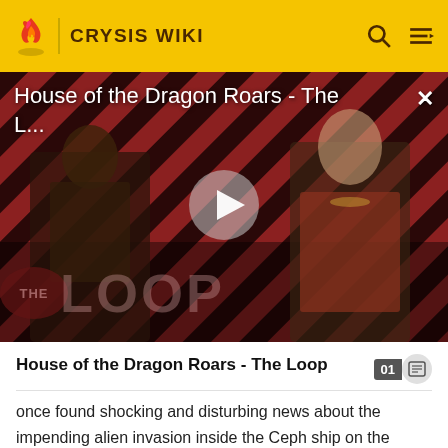CRYSIS WIKI
[Figure (screenshot): Video thumbnail for 'House of the Dragon Roars - The L...' showing two fantasy/medieval characters in armor and period dress against a red striped background with The Loop logo overlay and a play button in the center.]
House of the Dragon Roars - The Loop
once found shocking and disturbing news about the impending alien invasion inside the Ceph ship on the Lingshan islands. He says that while the Ceph might have